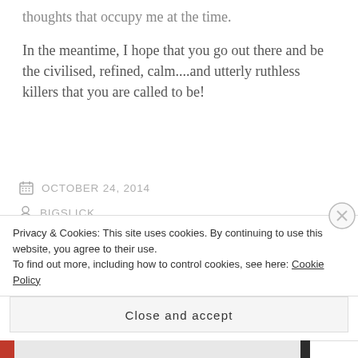thoughts that occupy me at the time.
In the meantime, I hope that you go out there and be the civilised, refined, calm....and utterly ruthless killers that you are called to be!
OCTOBER 24, 2014
BIGSLICK
AWARENESS, BUDDHISM, ESOTERICA, POKER MINDSET, PSYCHOLOGY, SAMURAI, SPIRITUALITY, TAG, ZEN
Privacy & Cookies: This site uses cookies. By continuing to use this website, you agree to their use. To find out more, including how to control cookies, see here: Cookie Policy
Close and accept